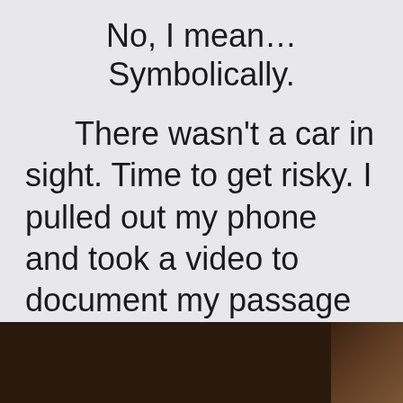No, I mean... Symbolically.
There wasn't a car in sight. Time to get risky. I pulled out my phone and took a video to document my passage through the tunnel. Sped up 4 times it looks like this:
[Figure (photo): Dark image of a tunnel interior, dimly lit, brownish-black tones at the bottom of the page]